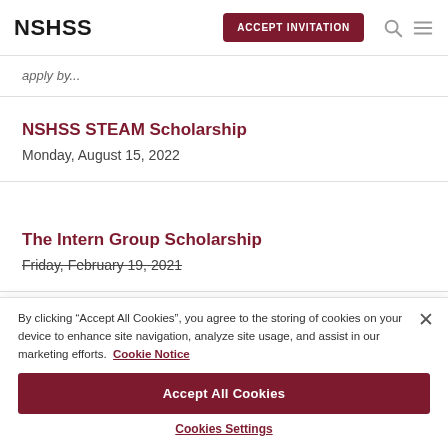NSHSS | ACCEPT INVITATION
[partial scholarship entry above]
NSHSS STEAM Scholarship
Monday, August 15, 2022
The Intern Group Scholarship
Friday, February 19, 2021
By clicking "Accept All Cookies", you agree to the storing of cookies on your device to enhance site navigation, analyze site usage, and assist in our marketing efforts. Cookie Notice
Accept All Cookies
Cookies Settings